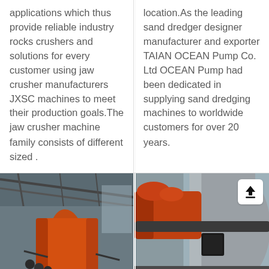applications which thus provide reliable industry rocks crushers and solutions for every customer using jaw crusher manufacturers JXSC machines to meet their production goals.The jaw crusher machine family consists of different sized .
location.As the leading sand dredger designer manufacturer and exporter TAIAN OCEAN Pump Co. Ltd OCEAN Pump had been dedicated in supplying sand dredging machines to worldwide customers for over 20 years.
[Figure (photo): Industrial photo showing an orange rotary drum/kiln machine inside a large steel-framed warehouse or factory building.]
[Figure (photo): Industrial machinery photo showing a large cylindrical drum or pipe, with orange and dark metal components, inside a factory. An upload icon is visible in the top-right corner of the image.]
Send Message
Free Consultation